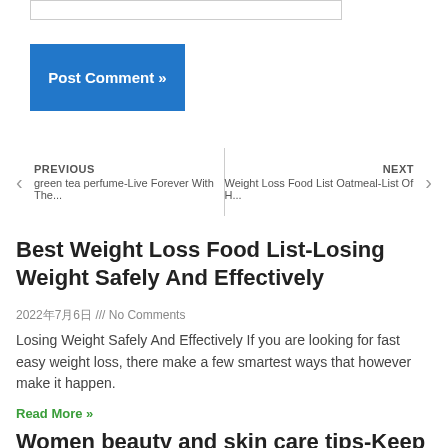[Figure (screenshot): Input text field (partially visible at top)]
Post Comment »
‹ PREVIOUS
green tea perfume-Live Forever With The... | NEXT ›
Weight Loss Food List Oatmeal-List Of H...
Best Weight Loss Food List-Losing Weight Safely And Effectively
2022年7月6日 /// No Comments
Losing Weight Safely And Effectively If you are looking for fast easy weight loss, there make a few smartest ways that however make it happen.
Read More »
Women beauty and skin care tips-Keep Your Dog